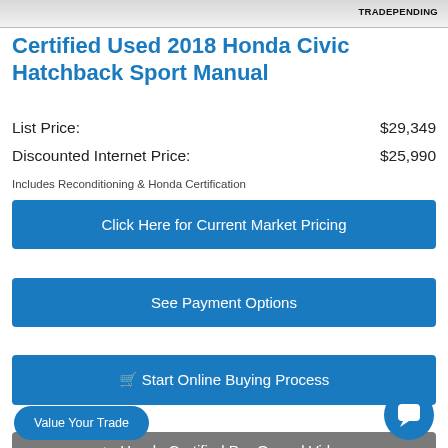[Figure (screenshot): Top partial car image with TRADE PENDING badge]
Certified Used 2018 Honda Civic Hatchback Sport Manual
List Price: $29,349
Discounted Internet Price: $25,990
Includes Reconditioning & Honda Certification
Click Here for Current Market Pricing
See Payment Options
🛒 Start Online Buying Process
▶ Honda Certified Pre-Owned Video
Click To Call
Value Your Trade
[Figure (logo): CARFAX logo with 4 gold stars]